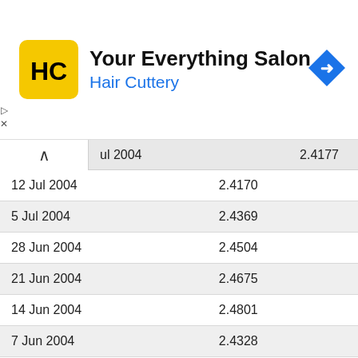[Figure (logo): Hair Cuttery advertisement banner with yellow HC logo, title 'Your Everything Salon' and subtitle 'Hair Cuttery' in blue, with a blue navigation arrow icon on the right]
| Date | Value |
| --- | --- |
| ul 2004 | 2.4177 |
| 12 Jul 2004 | 2.4170 |
| 5 Jul 2004 | 2.4369 |
| 28 Jun 2004 | 2.4504 |
| 21 Jun 2004 | 2.4675 |
| 14 Jun 2004 | 2.4801 |
| 7 Jun 2004 | 2.4328 |
| 31 May 2004 | 2.4492 |
| 24 May 2004 | 2.4997 |
| 17 May 2004 | 2.4770 |
| 10 May 2004 | 2.5141 |